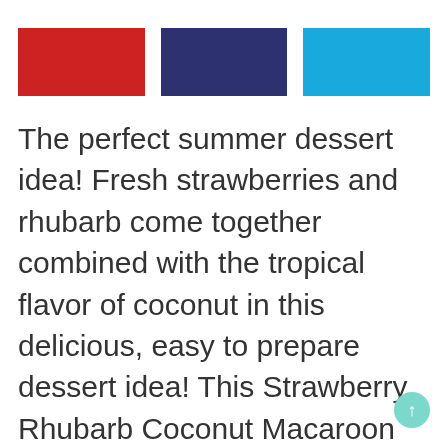[Figure (illustration): Three colored rectangles side by side: red, navy blue, and sky blue, serving as decorative color bars at the top of the page.]
The perfect summer dessert idea! Fresh strawberries and rhubarb come together combined with the tropical flavor of coconut in this delicious, easy to prepare dessert idea! This Strawberry Rhubarb Coconut Macaroon Recipe is simple to make and is a perfect for kids baking! Freeze extras and have cookies for months!